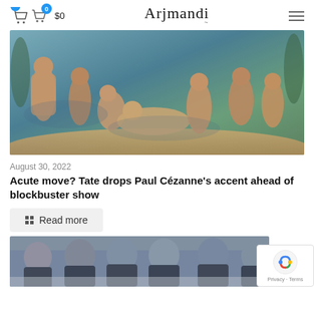Arjmandi — $0 cart
[Figure (photo): Painting of bathers (figures) in blue and earth tones, likely Cézanne's 'Les Grandes Baigneuses']
August 30, 2022
Acute move? Tate drops Paul Cézanne's accent ahead of blockbuster show
Read more
[Figure (photo): Group of men in suits seated at a table, partial view of an official-looking meeting]